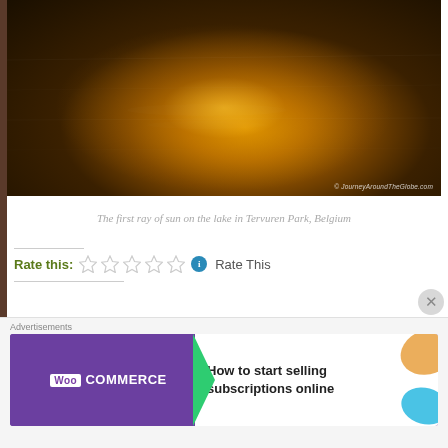[Figure (photo): Sunset or sunrise over a lake with golden light reflecting on water, with dark shoreline. Watermark: © JourneyAroundTheGlobe.com]
The first ray of sun on the lake in Tervuren Park, Belgium
Rate this: ☆☆☆☆☆ ℹ Rate This
Share this:
Post | Tweet | Save | Print | Email
Advertisements
[Figure (screenshot): WooCommerce advertisement banner: 'How to start selling subscriptions online']